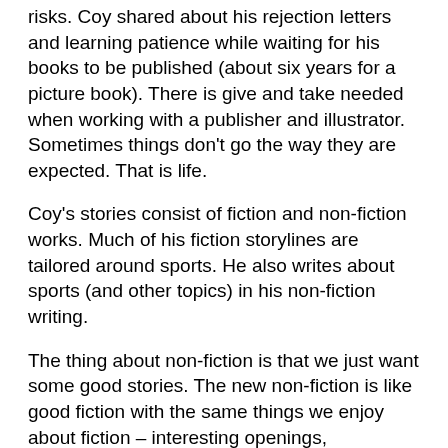risks.  Coy shared about his rejection letters and learning patience while waiting for his books to be published (about six years for a picture book).  There is give and take needed when working with a publisher and illustrator.  Sometimes things don't go the way they are expected.  That is life.
Coy's stories consist of fiction and non-fiction works.  Much of his fiction storylines are tailored around sports.  He also writes about sports (and other topics) in his non-fiction writing.
The thing about non-fiction is that we just want some good stories. The new non-fiction is like good fiction with the same things we enjoy about fiction – interesting openings, maintaining the elements of a storyline, and creative characters.